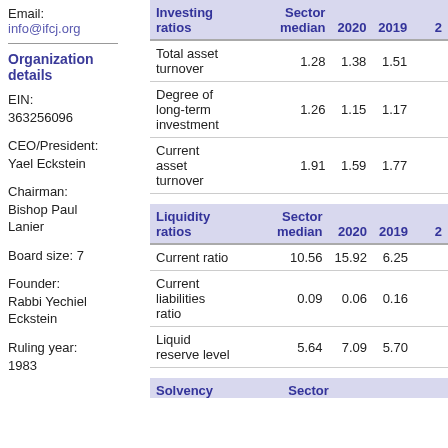Email:
info@ifcj.org
Organization details
EIN:
363256096
CEO/President:
Yael Eckstein
Chairman:
Bishop Paul Lanier
Board size: 7
Founder:
Rabbi Yechiel Eckstein
Ruling year:
1983
| Investing ratios | Sector median | 2020 | 2019 | 2... |
| --- | --- | --- | --- | --- |
| Total asset turnover | 1.28 | 1.38 | 1.51 |  |
| Degree of long-term investment | 1.26 | 1.15 | 1.17 |  |
| Current asset turnover | 1.91 | 1.59 | 1.77 |  |
| Liquidity ratios | Sector median | 2020 | 2019 | 2... |
| --- | --- | --- | --- | --- |
| Current ratio | 10.56 | 15.92 | 6.25 |  |
| Current liabilities ratio | 0.09 | 0.06 | 0.16 |  |
| Liquid reserve level | 5.64 | 7.09 | 5.70 |  |
| Solvency | Sector |  |  |  |
| --- | --- | --- | --- | --- |